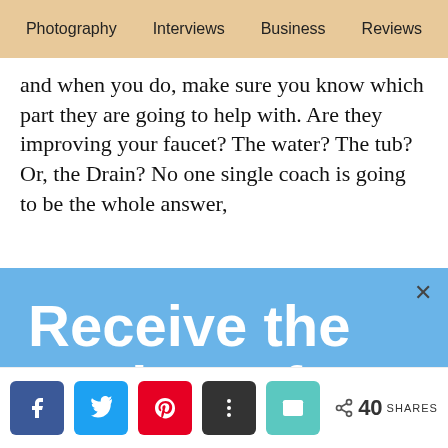Photography  Interviews  Business  Reviews
and when you do, make sure you know which part they are going to help with. Are they improving your faucet? The water? The tub? Or, the Drain? No one single coach is going to be the whole answer,
Receive the tastiest of Tiffinbox Treats. Yum!!
Be the first to know about the latest interviews with industry leaders who will help you make an impact.
< 40 SHARES